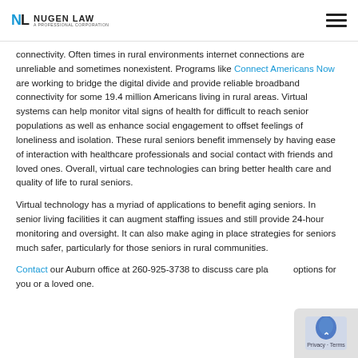NL NUGEN LAW A PROFESSIONAL CORPORATION
connectivity. Often times in rural environments internet connections are unreliable and sometimes nonexistent. Programs like Connect Americans Now are working to bridge the digital divide and provide reliable broadband connectivity for some 19.4 million Americans living in rural areas. Virtual systems can help monitor vital signs of health for difficult to reach senior populations as well as enhance social engagement to offset feelings of loneliness and isolation. These rural seniors benefit immensely by having ease of interaction with healthcare professionals and social contact with friends and loved ones. Overall, virtual care technologies can bring better health care and quality of life to rural seniors.
Virtual technology has a myriad of applications to benefit aging seniors. In senior living facilities it can augment staffing issues and still provide 24-hour monitoring and oversight. It can also make aging in place strategies for seniors much safer, particularly for those seniors in rural communities.
Contact our Auburn office at 260-925-3738 to discuss care planning options for you or a loved one.